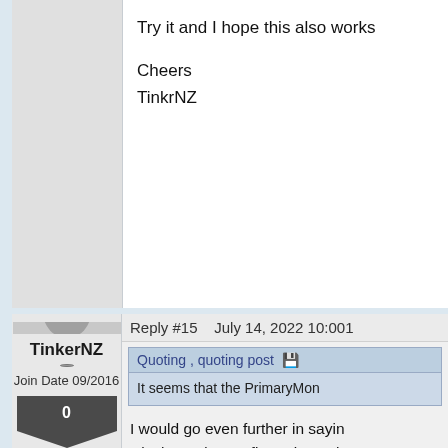Try it and I hope this also works

Cheers
TinkrNZ
Reply #15    July 14, 2022 10:001
[Figure (photo): User avatar photo of TinkerNZ - grayscale portrait]
TinkerNZ
Join Date 09/2016
0
Quoting , quoting post
It seems that the PrimaryMon
I would go even further in sayin Display order configuration to b See above for how I managed changing the order in which the